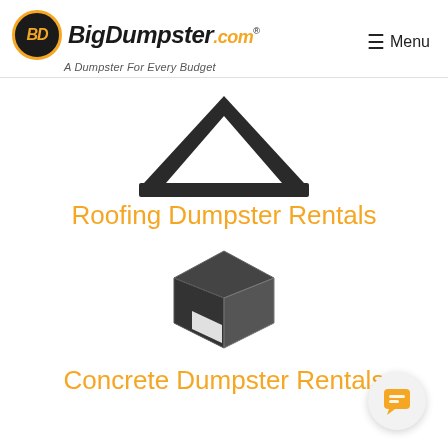BigDumpster.com — A Dumpster For Every Budget | Menu
[Figure (illustration): Black triangle/roof outline icon representing roofing]
Roofing Dumpster Rentals
[Figure (illustration): Dark grey 3D box/cube icon representing concrete/materials]
Concrete Dumpster Rentals
[Figure (illustration): Orange chat bubble icon in a circular white button, bottom right corner]